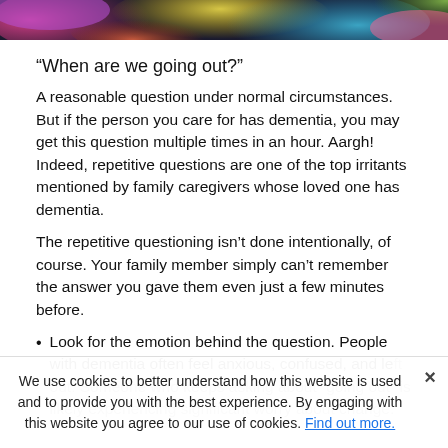[Figure (photo): Colorful blurred bokeh background image, cropped at top of page]
“When are we going out?”
A reasonable question under normal circumstances. But if the person you care for has dementia, you may get this question multiple times in an hour. Aargh! Indeed, repetitive questions are one of the top irritants mentioned by family caregivers whose loved one has dementia.
The repetitive questioning isn’t done intentionally, of course. Your family member simply can’t remember the answer you gave them even just a few minutes before.
Look for the emotion behind the question. People with dementia often feel anxious, confused, and left out. Someone who keeps asking about “going out” is likely experiencing significant worry about change.
We use cookies to better understand how this website is used and to provide you with the best experience. By engaging with this website you agree to our use of cookies. Find out more.